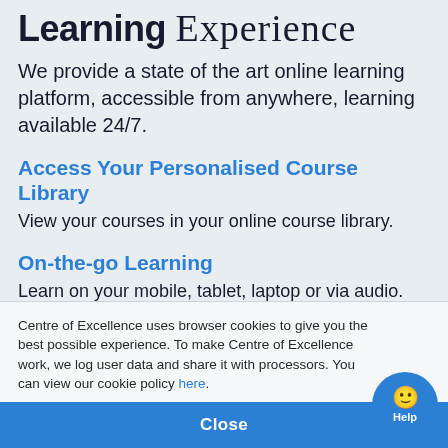Learning Experience
We provide a state of the art online learning platform, accessible from anywhere, learning available 24/7.
Access Your Personalised Course Library
View your courses in your online course library.
On-the-go Learning
Learn on your mobile, tablet, laptop or via audio.
Centre of Excellence uses browser cookies to give you the best possible experience. To make Centre of Excellence work, we log user data and share it with processors. You can view our cookie policy here.
Close